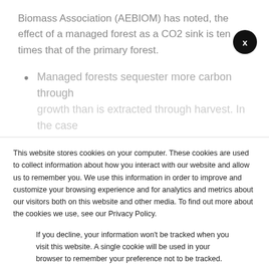Biomass Association (AEBIOM) has noted, the effect of a managed forest as a CO2 sink is ten times that of the primary forest.
Managed forests sequester more carbon through growth than is extracted through harvest. In the case
This website stores cookies on your computer. These cookies are used to collect information about how you interact with our website and allow us to remember you. We use this information in order to improve and customize your browsing experience and for analytics and metrics about our visitors both on this website and other media. To find out more about the cookies we use, see our Privacy Policy.
If you decline, your information won't be tracked when you visit this website. A single cookie will be used in your browser to remember your preference not to be tracked.